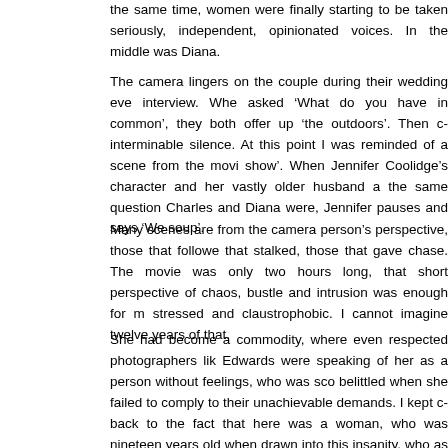the same time, women were finally starting to be taken seriously, independent, opinionated voices. In the middle was Diana.
The camera lingers on the couple during their wedding eve interview. When asked 'What do you have in common', they both offer up 'the outdoors'. Then came interminable silence. At this point I was reminded of a scene from the movie 'the show'. When Jennifer Coolidge's character and her vastly older husband are asked the same question Charles and Diana were, Jennifer pauses and says 'We both like soup'.
Many scenes are from the camera person's perspective, those that followed, that stalked, those that gave chase. The movie was only two hours long, but that short perspective of chaos, bustle and intrusion was enough for me stressed and claustrophobic. I cannot imagine twelve years of that.
She had become a commodity, where even respected photographers like Edwards were speaking of her as a person without feelings, who was scorned, belittled when she failed to comply to their unachievable demands. I kept coming back to the fact that here was a woman, who was nineteen years old when she was drawn into this insanity, who as a six year old literally watched her mother drive away to become for the longest time a distant figure in her life. In 1980 trauma, depression and self harm were not understood, let alone tolerated.
Conspiring family from both sides brought she and Charles together.
Diana looking for a Prince, stability and security, Charles looking for someone to placate his nagging family.
We look at that now, we would be together, all and then Charles...